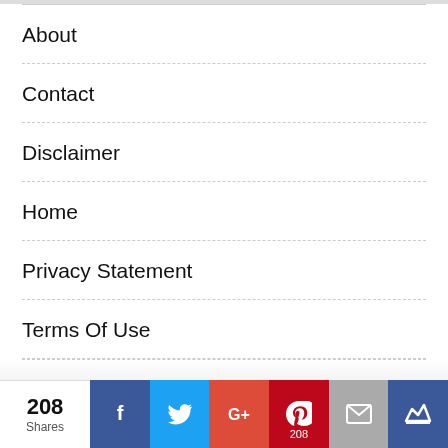About
Contact
Disclaimer
Home
Privacy Statement
Terms Of Use
This website uses cookies to improve your experience. We'll assume you're ok with this, but you can opt-out if you wish.
208 Shares